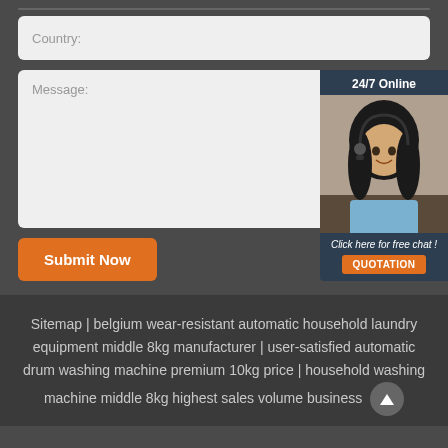[Figure (screenshot): Country input field (text input with placeholder 'Country:')]
[Figure (screenshot): Message textarea with placeholder 'Message:' and a 24/7 Online chat widget showing a customer service representative with 'Click here for free chat!' text and QUOTATION button]
[Figure (screenshot): Submit Now orange button]
Sitemap | belgium wear-resistant automatic household laundry equipment middle 8kg manufacturer | user-satisfied automatic drum washing machine premium 10kg price | household washing machine middle 8kg highest sales volume business